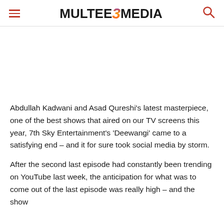MULTEE3MEDIA
Abdullah Kadwani and Asad Qureshi's latest masterpiece, one of the best shows that aired on our TV screens this year, 7th Sky Entertainment's 'Deewangi' came to a satisfying end – and it for sure took social media by storm.
After the second last episode had constantly been trending on YouTube last week, the anticipation for what was to come out of the last episode was really high – and the show